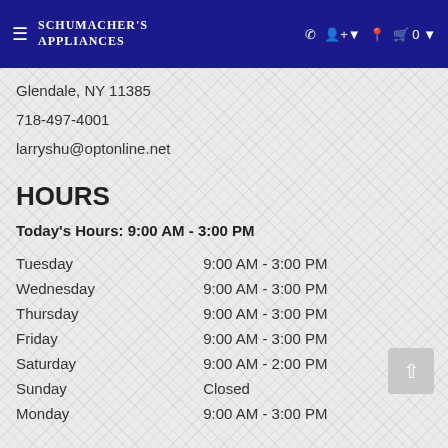Schumacher's Appliances
Glendale, NY 11385
718-497-4001
larryshu@optonline.net
HOURS
Today's Hours: 9:00 AM - 3:00 PM
| Day | Hours |
| --- | --- |
| Tuesday | 9:00 AM - 3:00 PM |
| Wednesday | 9:00 AM - 3:00 PM |
| Thursday | 9:00 AM - 3:00 PM |
| Friday | 9:00 AM - 3:00 PM |
| Saturday | 9:00 AM - 2:00 PM |
| Sunday | Closed |
| Monday | 9:00 AM - 3:00 PM |
STAY CONNECTED